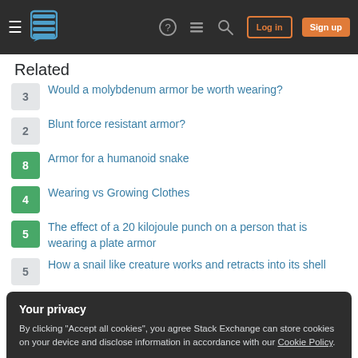Stack Exchange navigation bar with Log in and Sign up buttons
Related
3 Would a molybdenum armor be worth wearing?
2 Blunt force resistant armor?
8 Armor for a humanoid snake
4 Wearing vs Growing Clothes
5 The effect of a 20 kilojoule punch on a person that is wearing a plate armor
5 How a snail like creature works and retracts into its shell
Your privacy
By clicking "Accept all cookies", you agree Stack Exchange can store cookies on your device and disclose information in accordance with our Cookie Policy.